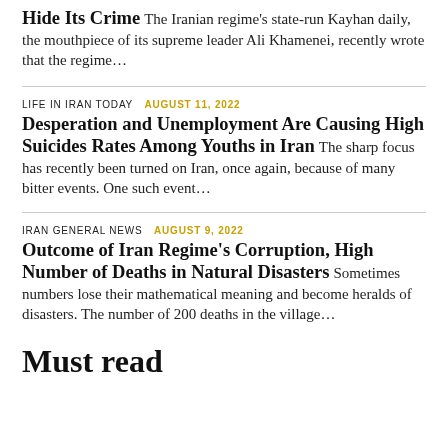Hide Its Crime The Iranian regime's state-run Kayhan daily, the mouthpiece of its supreme leader Ali Khamenei, recently wrote that the regime...
LIFE IN IRAN TODAY  AUGUST 11, 2022
Desperation and Unemployment Are Causing High Suicides Rates Among Youths in Iran The sharp focus has recently been turned on Iran, once again, because of many bitter events. One such event...
IRAN GENERAL NEWS  AUGUST 9, 2022
Outcome of Iran Regime's Corruption, High Number of Deaths in Natural Disasters Sometimes numbers lose their mathematical meaning and become heralds of disasters. The number of 200 deaths in the village...
Must read